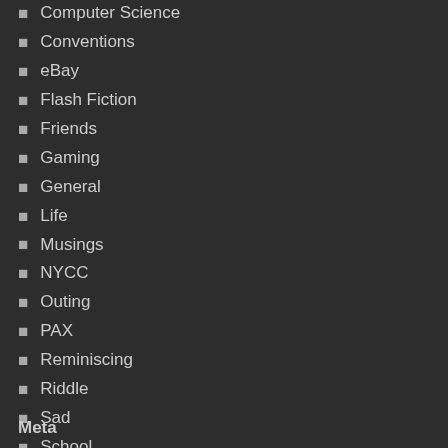Computer Science
Conventions
eBay
Flash Fiction
Friends
Gaming
General
Life
Musings
NYCC
Outing
PAX
Reminiscing
Riddle
Sad
School
Sentimental
Thoughtful
Uncategorized
Meta